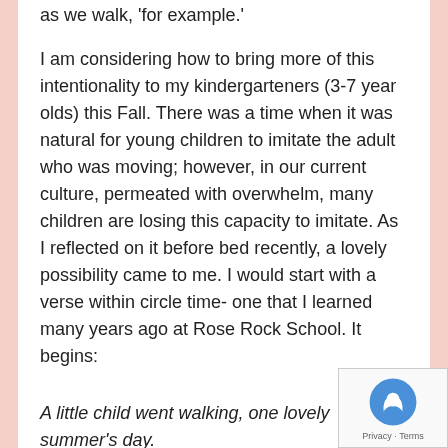as we walk, 'for example.'
I am considering how to bring more of this intentionality to my kindergarteners (3-7 year olds) this Fall. There was a time when it was natural for young children to imitate the adult who was moving; however, in our current culture, permeated with overwhelm, many children are losing this capacity to imitate. As I reflected on it before bed recently, a lovely possibility came to me. I would start with a verse within circle time- one that I learned many years ago at Rose Rock School. It begins:
A little child went walking, one lovely summer's day.